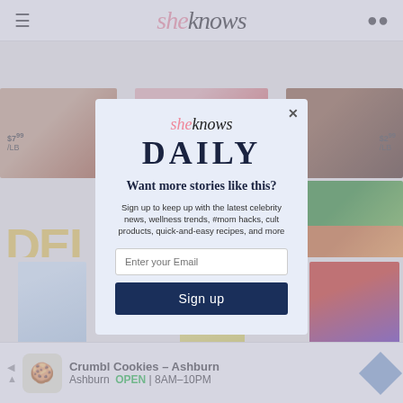sheknows
[Figure (screenshot): Background grocery store advertisement with food images and prices ($7.99/lb, $10, $2.99/lb)]
[Figure (screenshot): Background grocery store bottom section with Hershey's Popcorn, IZZE Lemonade cans, and cereal box]
[Figure (infographic): SheKnows Daily email newsletter signup modal overlay on a light blue background. Contains SheKnows logo, DAILY heading, signup prompt text, email input field, and Sign up button.]
Want more stories like this?
Sign up to keep up with the latest celebrity news, wellness trends, #mom hacks, cult products, quick-and-easy recipes, and more
[Figure (screenshot): Crumbl Cookies Ashburn advertisement banner at bottom: Ashburn OPEN 8AM-10PM]